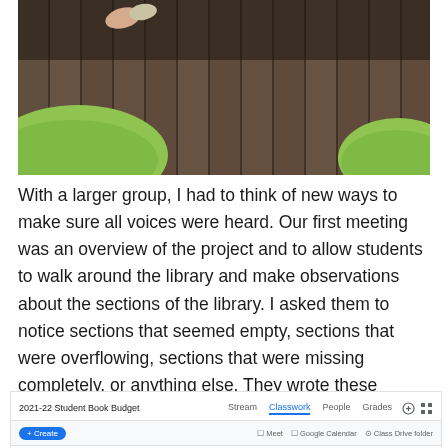[Figure (photo): Photo of green modern seating furniture on dark wood floor in a library or school setting, viewed from above]
With a larger group, I had to think of new ways to make sure all voices were heard. Our first meeting was an overview of the project and to allow students to walk around the library and make observations about the sections of the library. I asked them to notice sections that seemed empty, sections that were overflowing, sections that were missing completely, or anything else. They wrote these noticings down on paper and we saved them for our next meeting.
[Figure (screenshot): Screenshot of Google Classroom page for '2021-22 Student Book Budget' showing Stream, Classwork (active tab), People, and Grades tabs, with a Create button and Resources section header]